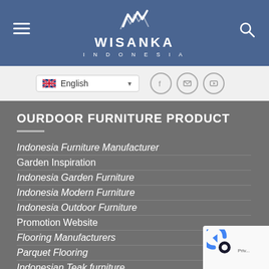[Figure (logo): Wisanka Indonesia logo with white wave/crown symbol on blue header background]
English language selector with UK flag, social icons for Facebook, Email, YouTube
OURDOOR FURNITURE PRODUCT
Indonesia Furniture Manufacturer
Garden Inspiration
Indonesia Garden Furniture
Indonesia Modern Furniture
Indonesia Outdoor Furniture
Promotion Website
Flooring Manufacturers
Parquet Flooring
Indonesian Teak furniture